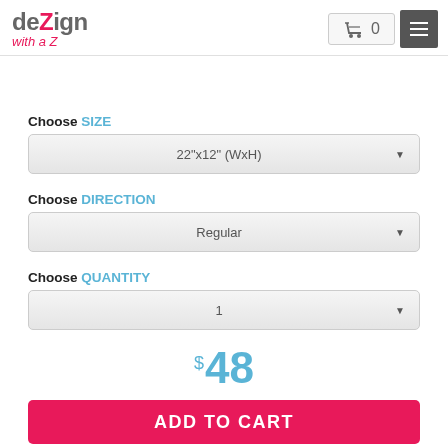deZign with a Z — shopping cart header with menu
Choose SIZE
22"x12" (WxH)
Choose DIRECTION
Regular
Choose QUANTITY
1
$48
ADD TO CART